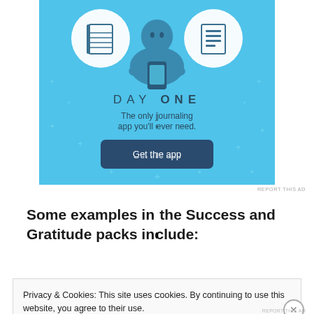[Figure (illustration): Day One journaling app advertisement. Light blue background with illustrated person holding a phone, flanked by notebook icons in circles. Text reads 'DAY ONE – The only journaling app you'll ever need.' with a 'Get the app' button.]
REPORT THIS AD
Some examples in the Success and Gratitude packs include:
Privacy & Cookies: This site uses cookies. By continuing to use this website, you agree to their use. To find out more, including how to control cookies, see here: Cookie Policy
REPORT THIS AD